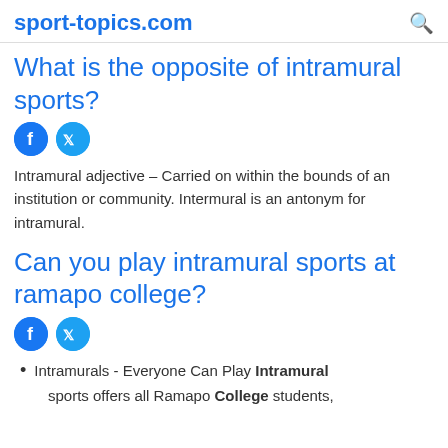sport-topics.com
What is the opposite of intramural sports?
[Figure (other): Facebook and Twitter social sharing icons]
Intramural adjective – Carried on within the bounds of an institution or community. Intermural is an antonym for intramural.
Can you play intramural sports at ramapo college?
[Figure (other): Facebook and Twitter social sharing icons]
Intramurals - Everyone Can Play Intramural sports offers all Ramapo College students,